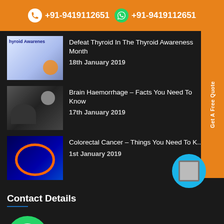+91-9419112651   +91-9419112651
Defeat Thyroid In The Thyroid Awareness Month — 18th January 2019
Brain Haemorrhage – Facts You Need To Know — 17th January 2019
Colorectal Cancer – Things You Need To Know — 1st January 2019
Contact Details
HQ: 24 A Extension Gandhi Nagar, Jammu.